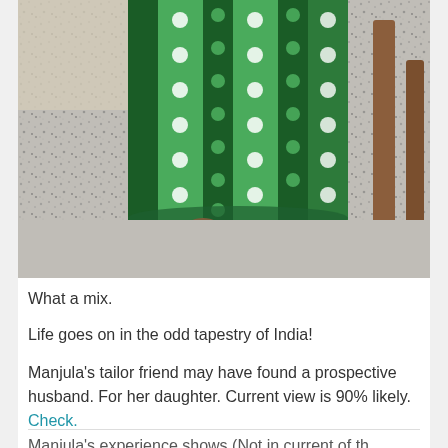[Figure (photo): A photo of a child hiding under a green patterned fabric/cloth that is draped like a curtain, on a speckled marble floor. Part of a decorative rug is visible in the lower right corner, and wooden furniture legs are visible on the right side.]
What a mix.
Life goes on in the odd tapestry of India!
Manjula's tailor friend may have found a prospective husband. For her daughter. Current view is 90% likely. Check.
Manjula's experience shows (Not in current of the...